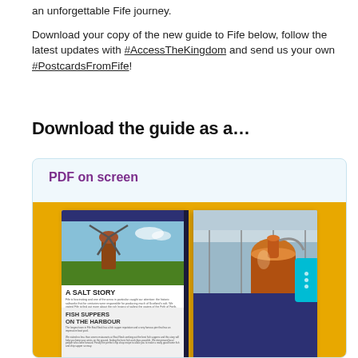an unforgettable Fife journey.
Download your copy of the new guide to Fife below, follow the latest updates with #AccessTheKingdom and send us your own #PostcardsFromFife!
Download the guide as a…
PDF on screen
[Figure (photo): Open magazine/guide spread showing two pages: left page has a windmill image and text 'A Salt Story' and 'Fish Suppers on the Harbour'; right page shows a copper distillery still with text 'Bonbons and Barley'. Book displayed on a yellow/gold background.]